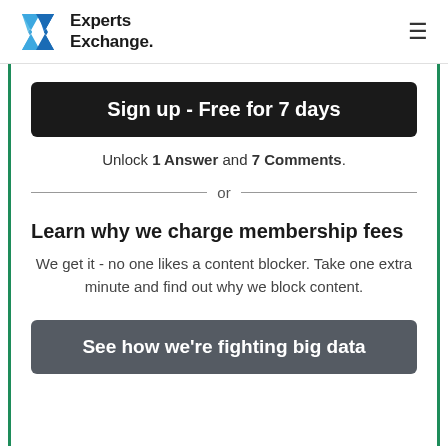Experts Exchange.
Sign up - Free for 7 days
Unlock 1 Answer and 7 Comments.
or
Learn why we charge membership fees
We get it - no one likes a content blocker. Take one extra minute and find out why we block content.
See how we're fighting big data